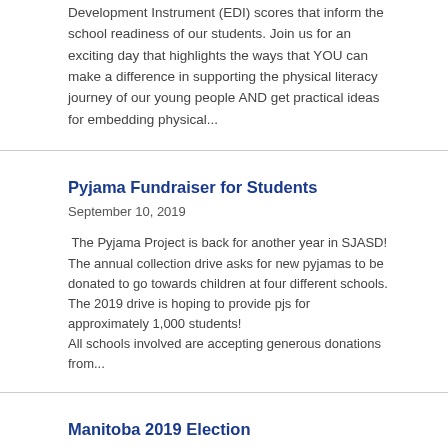Development Instrument (EDI) scores that inform the school readiness of our students. Join us for an exciting day that highlights the ways that YOU can make a difference in supporting the physical literacy journey of our young people AND get practical ideas for embedding physical...
Pyjama Fundraiser for Students
September 10, 2019
The Pyjama Project is back for another year in SJASD! The annual collection drive asks for new pyjamas to be donated to go towards children at four different schools. The 2019 drive is hoping to provide pjs for approximately 1,000 students!
All schools involved are accepting generous donations from...
Manitoba 2019 Election
September 06, 2019